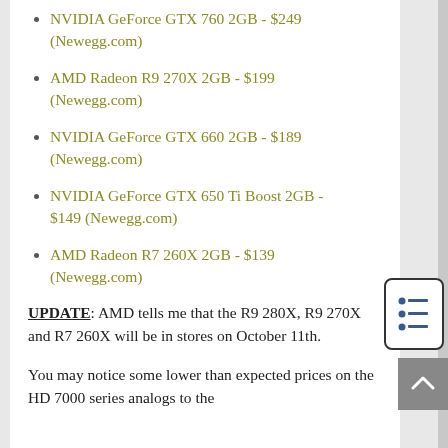NVIDIA GeForce GTX 760 2GB - $249 (Newegg.com)
AMD Radeon R9 270X 2GB - $199 (Newegg.com)
NVIDIA GeForce GTX 660 2GB - $189 (Newegg.com)
NVIDIA GeForce GTX 650 Ti Boost 2GB - $149 (Newegg.com)
AMD Radeon R7 260X 2GB - $139 (Newegg.com)
UPDATE: AMD tells me that the R9 280X, R9 270X and R7 260X will be in stores on October 11th.
You may notice some lower than expected prices on the HD 7000 series analogs to the